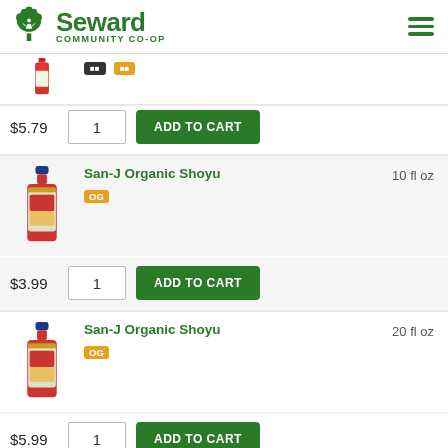Seward Community Co-op
[Figure (screenshot): Partial product listing showing a bottle at top with price $5.79, quantity 1, and Add to Cart button]
$5.79
1
ADD TO CART
[Figure (photo): San-J Organic Shoyu 10 fl oz bottle with blue cap and red label]
San-J Organic Shoyu
OG
10 fl oz
$3.99
1
ADD TO CART
[Figure (photo): San-J Organic Shoyu 20 fl oz bottle with blue cap and red label]
San-J Organic Shoyu
OG
20 fl oz
$5.99
1
ADD TO CART
San-J Szechuan Sauce